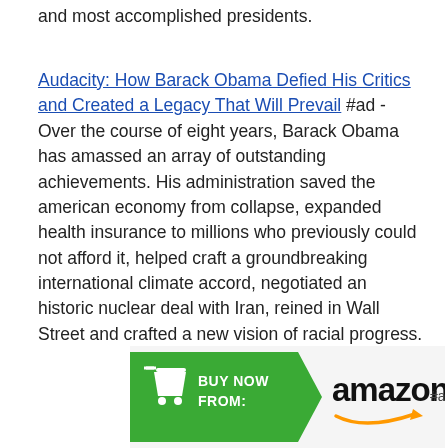and most accomplished presidents.
Audacity: How Barack Obama Defied His Critics and Created a Legacy That Will Prevail #ad - Over the course of eight years, Barack Obama has amassed an array of outstanding achievements. His administration saved the american economy from collapse, expanded health insurance to millions who previously could not afford it, helped craft a groundbreaking international climate accord, negotiated an historic nuclear deal with Iran, reined in Wall Street and crafted a new vision of racial progress.
[Figure (other): Amazon Buy Now banner with green arrow shape containing cart icon and BUY NOW FROM: text, followed by Amazon logo with orange smile, and #ad label]